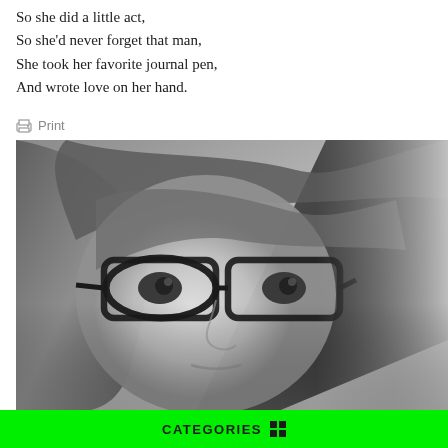So she did a little act,
So she'd never forget that man,
She took her favorite journal pen,
And wrote love on her hand.
Print
[Figure (photo): Black and white close-up portrait of a young woman with long hair and black-framed glasses, looking directly at the camera with a serious expression.]
CATEGORIES